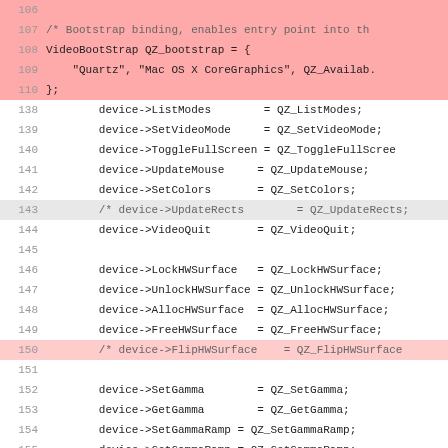[Figure (screenshot): Source code viewer showing C code lines 106-110 (highlighted pink at top), 138-155, 396-397. Lines 143 and 150 have special highlighting. Code shows VideoBootStrap struct and device pointer assignments for SDL/QuartzGL video driver.]